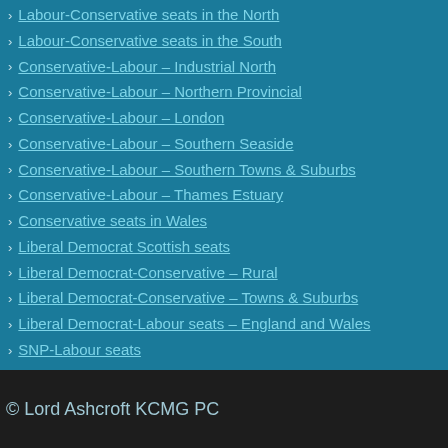Labour-Conservative seats in the North
Labour-Conservative seats in the South
Conservative-Labour – Industrial North
Conservative-Labour – Northern Provincial
Conservative-Labour – London
Conservative-Labour – Southern Seaside
Conservative-Labour – Southern Towns & Suburbs
Conservative-Labour – Thames Estuary
Conservative seats in Wales
Liberal Democrat Scottish seats
Liberal Democrat-Conservative – Rural
Liberal Democrat-Conservative – Towns & Suburbs
Liberal Democrat-Labour seats – England and Wales
SNP-Labour seats
Conservative-held Midlands seats
© Lord Ashcroft KCMG PC